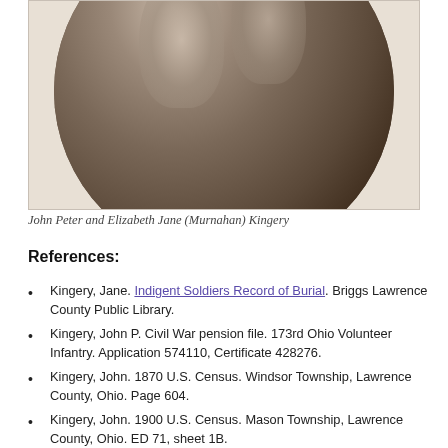[Figure (photo): Sepia-toned circular portrait photograph of John Peter and Elizabeth Jane (Murnahan) Kingery]
John Peter and Elizabeth Jane (Murnahan) Kingery
References:
Kingery, Jane. Indigent Soldiers Record of Burial. Briggs Lawrence County Public Library.
Kingery, John P. Civil War pension file. 173rd Ohio Volunteer Infantry. Application 574110, Certificate 428276.
Kingery, John. 1870 U.S. Census. Windsor Township, Lawrence County, Ohio. Page 604.
Kingery, John. 1900 U.S. Census. Mason Township, Lawrence County, Ohio. ED 71, sheet 1B.